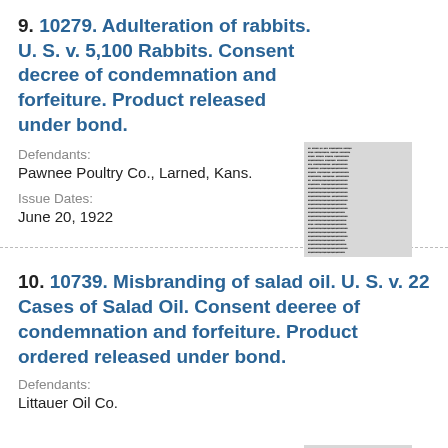9. 10279. Adulteration of rabbits. U. S. v. 5,100 Rabbits. Consent decree of condemnation and forfeiture. Product released under bond.
Defendants:
Pawnee Poultry Co., Larned, Kans.
Issue Dates:
June 20, 1922
[Figure (other): Thumbnail image of document text, too small to read]
10. 10739. Misbranding of salad oil. U. S. v. 22 Cases of Salad Oil. Consent deeree of condemnation and forfeiture. Product ordered released under bond.
Defendants:
Littauer Oil Co.
[Figure (other): Thumbnail image of document text, too small to read]